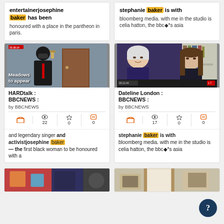entertainerjosephine baker has been honoured with a place in the pantheon in paris.
stephanie baker is with bloomberg media. with me in the studio is celia hatton, the bbc◆*s asia
[Figure (screenshot): Video thumbnail showing a masked man in a dark suit near a wooden door, with overlay text 'Meadows to appear' and a red timestamp badge]
HARDtalk : BBCNEWS : by BBCNEWS, stats: 22 views, 0 favorites, 0 quotes
and legendary singer and activistjosephine baker — the first black woman to be honoured with a
[Figure (screenshot): Video thumbnail showing two women on a split screen video call, one elderly with white hair, one younger with long brown hair, with a red timestamp badge]
Dateline London : BBCNEWS : by BBCNEWS, stats: 17 views, 0 favorites, 0 quotes
stephanie baker is with bloomberg media. with me in the studio is celia hatton, the bbc◆*s asia
[Figure (screenshot): Partial video thumbnail at bottom left, colorful interior scene]
[Figure (screenshot): Partial video thumbnail at bottom right, interior scene with doorway]